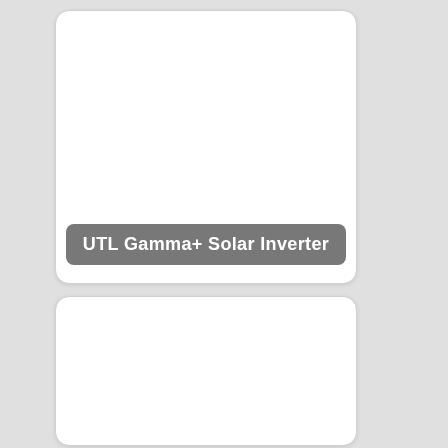[Figure (photo): White rounded rectangle card (top) with a gray rounded label at the bottom reading 'UTL Gamma+ Solar Inverter' in white bold text]
UTL Gamma+ Solar Inverter
[Figure (photo): White rounded rectangle card (bottom), blank/empty content area]